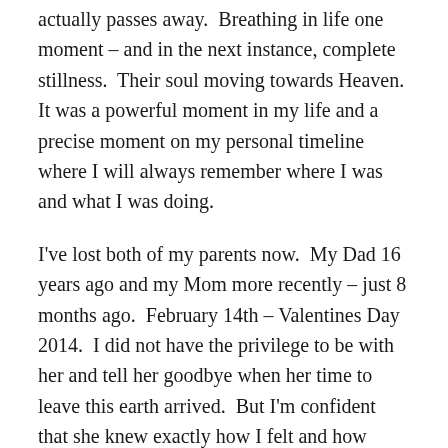actually passes away.  Breathing in life one moment – and in the next instance, complete stillness.  Their soul moving towards Heaven.  It was a powerful moment in my life and a precise moment on my personal timeline where I will always remember where I was and what I was doing.
I've lost both of my parents now.  My Dad 16 years ago and my Mom more recently – just 8 months ago.  February 14th – Valentines Day 2014.  I did not have the privilege to be with her and tell her goodbye when her time to leave this earth arrived.  But I'm confident that she knew exactly how I felt and how much I loved and respected her.  I'm confident that she knew how much all of my siblings loved her.